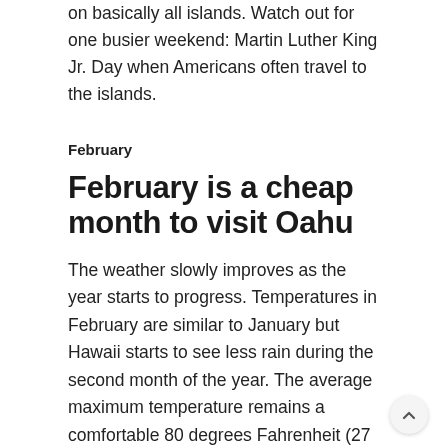on basically all islands. Watch out for one busier weekend: Martin Luther King Jr. Day when Americans often travel to the islands.
February
February is a cheap month to visit Oahu
The weather slowly improves as the year starts to progress. Temperatures in February are similar to January but Hawaii starts to see less rain during the second month of the year. The average maximum temperature remains a comfortable 80 degrees Fahrenheit (27 Celsius) while precipitation in the state drops. Nights can be colder but not cold enough for winter jackets.
February is a slow month for global travel. Once again,